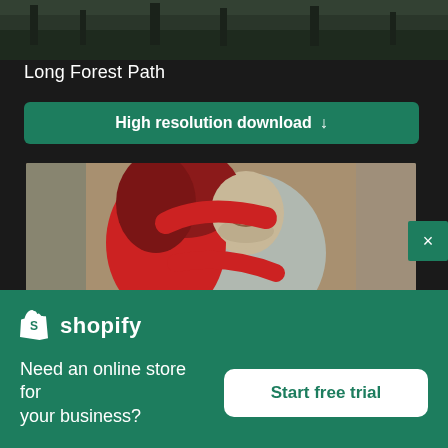[Figure (photo): Dark topped section showing trees/forest at top of page]
Long Forest Path
High resolution download ↓
[Figure (photo): A couple hugging — woman in red sweater with dark red hair hugging a smiling man in a grey sweatshirt, outdoor urban background]
[Figure (logo): Shopify logo — white shopping bag icon with 'S' plus 'shopify' text in white]
Need an online store for your business?
Start free trial